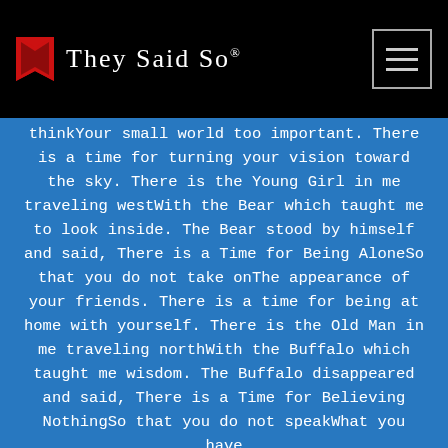They Said So®
thinkYour small world too important. There is a time for turning your vision toward the sky. There is the Young Girl in me traveling westWith the Bear which taught me to look inside. The Bear stood by himself and said, There is a Time for Being AloneSo that you do not take onThe appearance of your friends. There is a time for being at home with yourself. There is the Old Man in me traveling northWith the Buffalo which taught me wisdom. The Buffalo disappeared and said, There is a Time for Believing NothingSo that you do not speakWhat you have